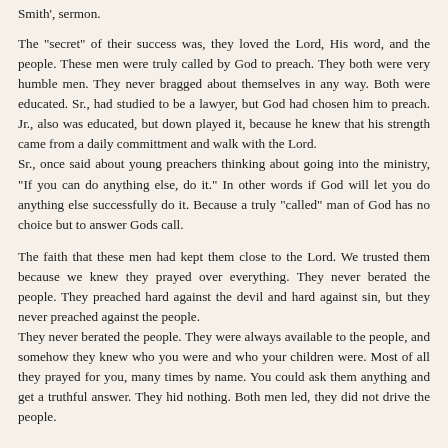Smith', sermon.
The "secret" of their success was, they loved the Lord, His word, and the people. These men were truly called by God to preach. They both were very humble men. They never bragged about themselves in any way. Both were educated. Sr., had studied to be a lawyer, but God had chosen him to preach. Jr., also was educated, but down played it, because he knew that his strength came from a daily committment and walk with the Lord.
Sr., once said about young preachers thinking about going into the ministry, "If you can do anything else, do it." In other words if God will let you do anything else successfully do it. Because a truly "called" man of God has no choice but to answer Gods call.
The faith that these men had kept them close to the Lord. We trusted them because we knew they prayed over everything. They never berated the people. They preached hard against the devil and hard against sin, but they never preached against the people.
They never berated the people. They were always available to the people, and somehow they knew who you were and who your children were. Most of all they prayed for you, many times by name. You could ask them anything and get a truthful answer. They hid nothing. Both men led, they did not drive the people.